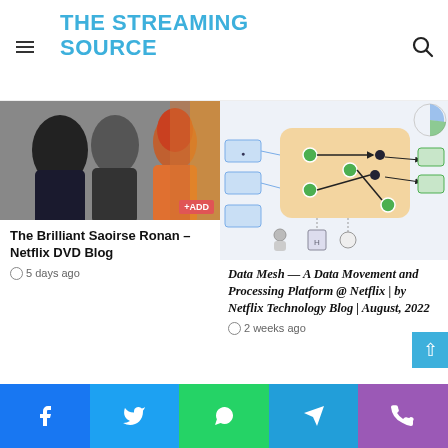THE STREAMING SOURCE
[Figure (photo): Two women from behind, one with red hair, outdoor scene. +ADD badge visible.]
The Brilliant Saoirse Ronan – Netflix DVD Blog
5 days ago
[Figure (network-graph): Data mesh architecture diagram showing nodes, connectors, and flow paths on a light orange background with blue nodes and dark arrows.]
Data Mesh — A Data Movement and Processing Platform @ Netflix | by Netflix Technology Blog | August, 2022
2 weeks ago
Facebook | Twitter | WhatsApp | Telegram | Phone